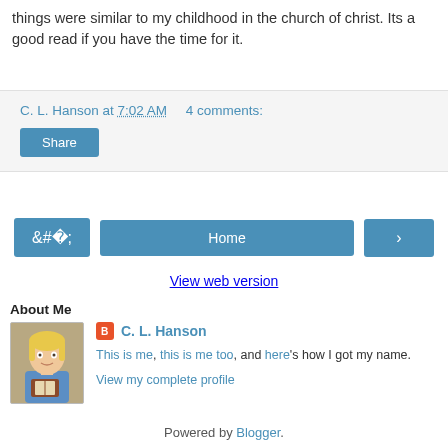things were similar to my childhood in the church of christ. Its a good read if you have the time for it.
C. L. Hanson at 7:02 AM   4 comments:
Share
‹  Home  ›
View web version
About Me
[Figure (illustration): Avatar illustration of a blonde woman holding books]
C. L. Hanson
This is me, this is me too, and here's how I got my name.
View my complete profile
Powered by Blogger.